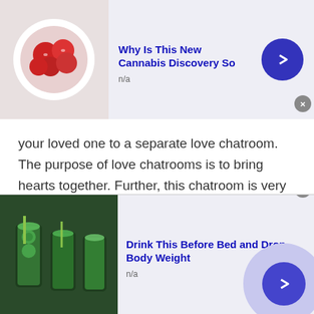[Figure (screenshot): Top advertisement banner with image of red berries/fruit in a bowl, text 'Why Is This New Cannabis Discovery So' in bold blue, 'n/a' subtitle, and a blue arrow circle button]
your loved one to a separate love chatroom. The purpose of love chatrooms is to bring hearts together. Further, this chatroom is very much helpful to the people who are either introverted by nature or feel shy to talk to another gender.
Make New Friends:
The world has now become a global village. Everything is interconnected when you chat with
[Figure (screenshot): Bottom advertisement banner with image of green drinks/smoothies in glasses, text 'Drink This Before Bed and Drop Body Weight' in bold blue, 'n/a' subtitle, and a blue arrow circle button on a lavender circular background]